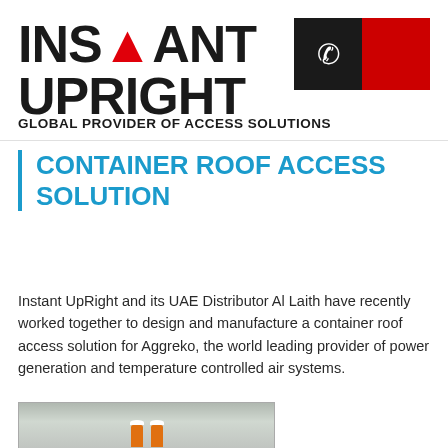[Figure (logo): Instant UpRight logo with bold black text 'INSTANT UPRIGHT' and a small red triangle accent on the letter N in INSTANT]
[Figure (infographic): Phone/contact button block: dark/black square with white phone icon on left, red square on right]
GLOBAL PROVIDER OF ACCESS SOLUTIONS
CONTAINER ROOF ACCESS SOLUTION
Instant UpRight and its UAE Distributor Al Laith have recently worked together to design and manufacture a container roof access solution for Aggreko, the world leading provider of power generation and temperature controlled air systems.
[Figure (photo): Photo of workers in orange safety gear on a container roof access scaffold structure]